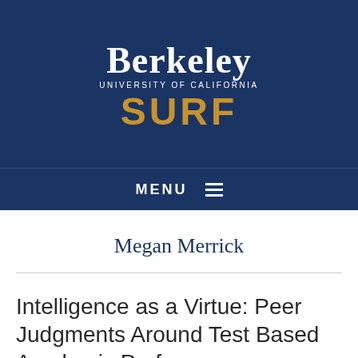[Figure (logo): UC Berkeley SURF program logo: 'Berkeley' in white serif font, 'UNIVERSITY OF CALIFORNIA' in small white caps, 'SURF' in large gold sans-serif font, all on a dark navy blue background]
MENU ☰
Megan Merrick
Intelligence as a Virtue: Peer Judgments Around Test Based Academic Performance